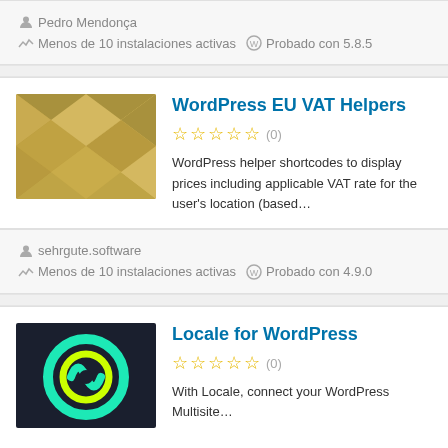Pedro Mendonça
Menos de 10 instalaciones activas   Probado con 5.8.5
WordPress EU VAT Helpers
(0)
WordPress helper shortcodes to display prices including applicable VAT rate for the user's location (based…
sehrgute.software
Menos de 10 instalaciones activas   Probado con 4.9.0
Locale for WordPress
(0)
With Locale, connect your WordPress Multisite…